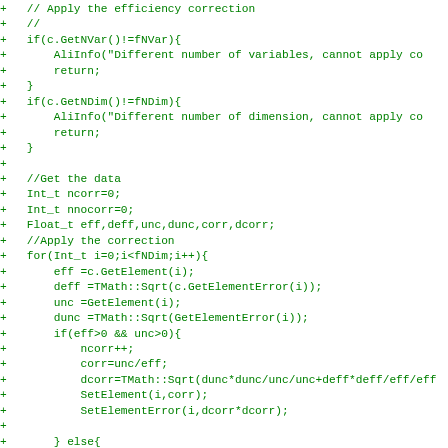+ 	// Apply the efficiency correction
+ 	//
+ 	if(c.GetNVar()!=fNVar){
+ 		AliInfo("Different number of variables, cannot apply co
+ 		return;
+ 	}
+ 	if(c.GetNDim()!=fNDim){
+ 		AliInfo("Different number of dimension, cannot apply co
+ 		return;
+ 	}
+
+ 	//Get the data
+ 	Int_t ncorr=0;
+ 	Int_t nnocorr=0;
+ 	Float_t eff,deff,unc,dunc,corr,dcorr;
+ 	//Apply the correction
+ 	for(Int_t i=0;i<fNDim;i++){
+ 		eff =c.GetElement(i);
+ 		deff =TMath::Sqrt(c.GetElementError(i));
+ 		unc =GetElement(i);
+ 		dunc =TMath::Sqrt(GetElementError(i));
+ 		if(eff>0 && unc>0){
+ 			ncorr++;
+ 			corr=unc/eff;
+ 			dcorr=TMath::Sqrt(dunc*dunc/unc/unc+deff*deff/eff/eff
+ 			SetElement(i,corr);
+ 			SetElementError(i,dcorr*dcorr);
+
+ 		} else{
+ 			if(unc>0)nnocorr++;
+ 			SetElement(i,0);
+ 			SetElementError(i,0);
+ 		}